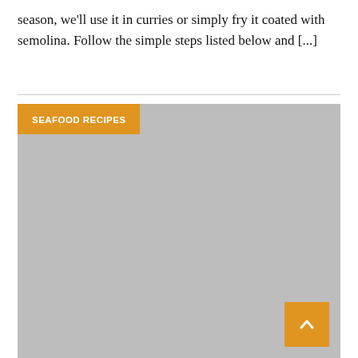season, we'll use it in curries or simply fry it coated with semolina. Follow the simple steps listed below and [...]
[Figure (photo): Large gray placeholder image with 'SEAFOOD RECIPES' badge overlay in the top-left corner and a scroll-to-top button in the bottom-right corner.]